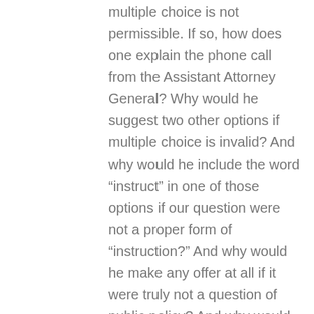multiple choice is not permissible. If so, how does one explain the phone call from the Assistant Attorney General? Why would he suggest two other options if multiple choice is invalid? And why would he include the word “instruct” in one of those options if our question were not a proper form of “instruction?” And why would he make any offer at all if it were truly not a question of public policy? And why would he ask us to consider making any changes at all, when the Sept. 2 opinion said exactly that no such changes can be made after the petitions have been signed?